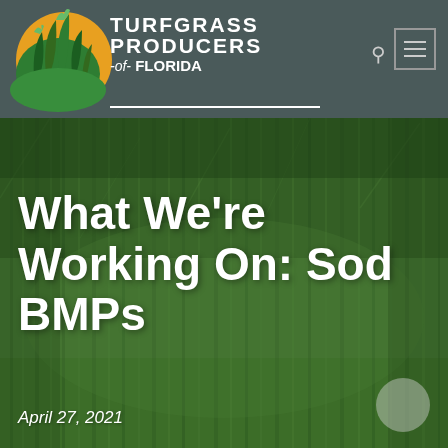Turfgrass Producers of Florida
[Figure (photo): Close-up photo of green turfgrass/sod field with blurred depth of field, used as hero background image]
What We’re Working On: Sod BMPs
April 27, 2021